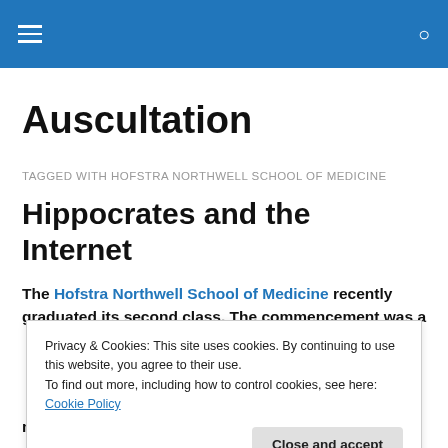Auscultation — navigation bar with hamburger menu and search icon
Auscultation
TAGGED WITH HOFSTRA NORTHWELL SCHOOL OF MEDICINE
Hippocrates and the Internet
The Hofstra Northwell School of Medicine recently graduated its second class. The commencement was a
Privacy & Cookies: This site uses cookies. By continuing to use this website, you agree to their use.
To find out more, including how to control cookies, see here: Cookie Policy
Close and accept
nice touch, the other physicians in the audience were